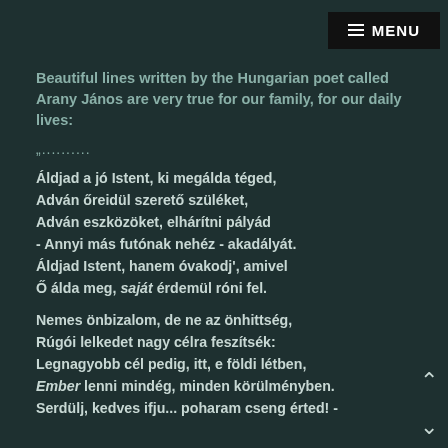MENU
Beautiful lines written by the Hungarian poet called Arany János are very true for our family, for our daily lives:
„..........
Áldjad a jó Istent, ki megálda téged,
Adván őreidül szerető szüléket,
Adván eszközöket, elhárítni pályád
- Annyi más futónak nehéz - akadályát.
Áldjad Istent, hanem óvakodj', amivel
Ő álda meg, saját érdemül róni fel.
Nemes önbizalom, de ne az önhittség,
Rúgói lelkedet nagy célra feszítsék:
Legnagyobb cél pedig, itt, e földi létben,
Ember lenni mindég, minden körülményben.
Serdülj, kedves ifju... poharam cseng érted! -